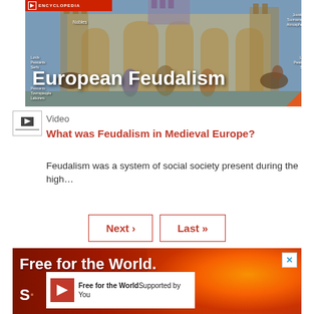[Figure (illustration): Medieval feudalism illustration from Britannica Encyclopedia showing a multi-tiered castle/society structure with nobles, lords, and peasants labeled. Title text 'European Feudalism' overlaid in white.]
European Feudalism
Video
What was Feudalism in Medieval Europe?
Feudalism was a system of social society present during the high…
Next › Last »
[Figure (photo): Britannica advertisement banner with dark red background and flame/fire imagery. Text reads 'Free for the World.' and 'S...' with overlay showing 'Free for the World / Supported by You' with Britannica logo.]